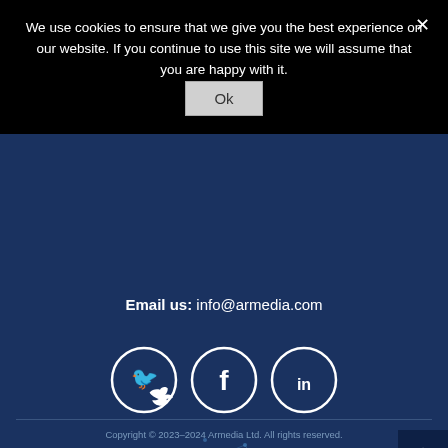We use cookies to ensure that we give you the best experience on our website. If you continue to use this site we will assume that you are happy with it.
Ok
Email us: info@armedia.com
[Figure (illustration): Three circular social media icons (Twitter, Facebook, LinkedIn) with white outlines on dark navy background]
[Figure (illustration): Network/cloud connectivity graphic with glowing blue dots and small icons on dark navy background]
Copyright © 2023–2024 Armedia Ltd. All rights reserved.